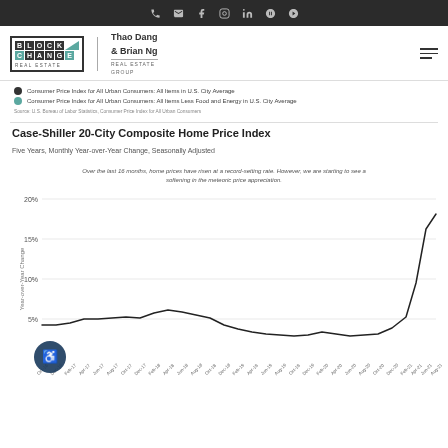BlockChange Real Estate – Thao Dang & Brian Ng Real Estate Group
Consumer Price Index for All Urban Consumers: All Items in U.S. City Average
Consumer Price Index for All Urban Consumers: All Items Less Food and Energy in U.S. City Average
Source: U.S. Bureau of Labor Statistics, Consumer Price Index for All Urban Consumers
Case-Shiller 20-City Composite Home Price Index
Five Years, Monthly Year-over-Year Change, Seasonally Adjusted
[Figure (line-chart): Case-Shiller 20-City Composite Home Price Index]